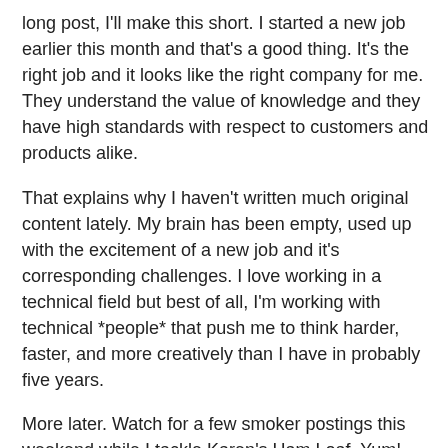long post, I'll make this short. I started a new job earlier this month and that's a good thing. It's the right job and it looks like the right company for me. They understand the value of knowledge and they have high standards with respect to customers and products alike.
That explains why I haven't written much original content lately. My brain has been empty, used up with the excitement of a new job and it's corresponding challenges. I love working in a technical field but best of all, I'm working with technical *people* that push me to think harder, faster, and more creatively than I have in probably five years.
More later. Watch for a few smoker postings this weekend while I tackle Karen's Ham Loaf. Yum!